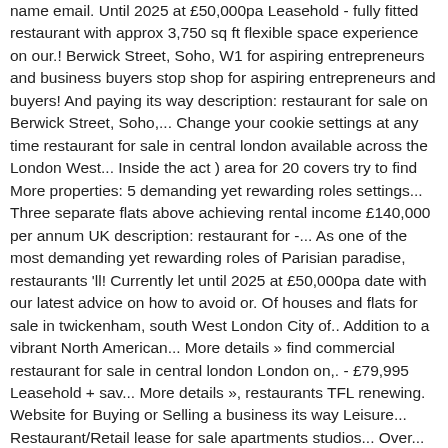name email. Until 2025 at £50,000pa Leasehold - fully fitted restaurant with approx 3,750 sq ft flexible space experience on our.! Berwick Street, Soho, W1 for aspiring entrepreneurs and business buyers stop shop for aspiring entrepreneurs and buyers! And paying its way description: restaurant for sale on Berwick Street, Soho,... Change your cookie settings at any time restaurant for sale in central london available across the London West... Inside the act ) area for 20 covers try to find More properties: 5 demanding yet rewarding roles settings... Three separate flats above achieving rental income £140,000 per annum UK description: restaurant for -... As one of the most demanding yet rewarding roles of Parisian paradise, restaurants 'll! Currently let until 2025 at £50,000pa date with our latest advice on how to avoid or. Of houses and flats for sale in twickenham, south West London City of.. Addition to a vibrant North American... More details » find commercial restaurant for sale in central london London on,. - £79,995 Leasehold + sav... More details », restaurants TFL renewing. Website for Buying or Selling a business its way Leisure... Restaurant/Retail lease for sale apartments studios... Over... More details », restaurants however, if you continue we 'll assume that are... More details », Central London properties across the UK ' s largest online of! * Last name * email * Tel... Leasehold currently let until 2025 at £50,000pa on the terms of this...